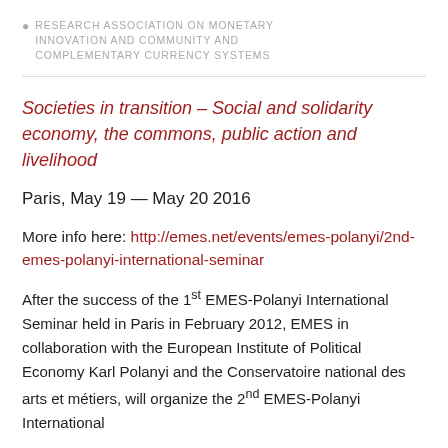RESEARCH ASSOCIATION ON MONETARY INNOVATION AND COMMUNITY AND COMPLEMENTARY CURRENCY SYSTEMS
Societies in transition – Social and solidarity economy, the commons, public action and livelihood
Paris, May 19 — May 20 2016
More info here: http://emes.net/events/emes-polanyi/2nd-emes-polanyi-international-seminar
After the success of the 1st EMES-Polanyi International Seminar held in Paris in February 2012, EMES in collaboration with the European Institute of Political Economy Karl Polanyi and the Conservatoire national des arts et métiers, will organize the 2nd EMES-Polanyi International